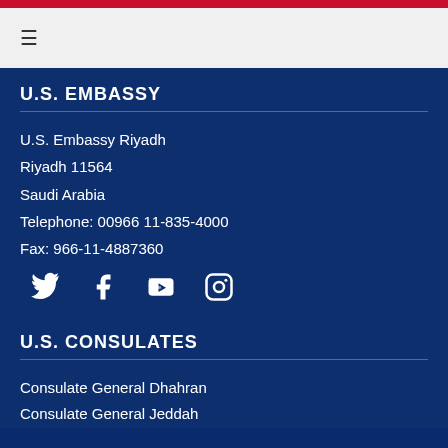Navigation bar with hamburger menu
U.S. EMBASSY
U.S. Embassy Riyadh
Riyadh 11564
Saudi Arabia
Telephone: 00966 11-835-4000
Fax: 966-11-4887360
[Figure (infographic): Social media icons: Twitter, Facebook, YouTube, Instagram]
U.S. CONSULATES
Consulate General Dhahran
Consulate General Jeddah